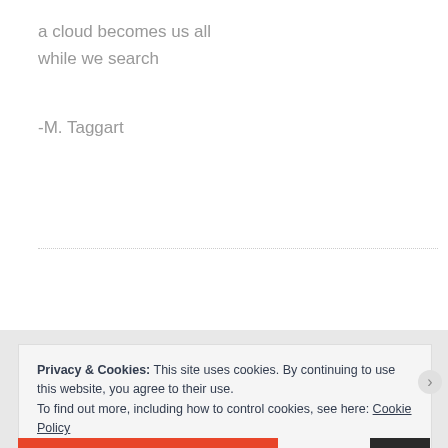a cloud becomes us all
while we search
-M. Taggart
Privacy & Cookies: This site uses cookies. By continuing to use this website, you agree to their use.
To find out more, including how to control cookies, see here: Cookie Policy
Close and accept